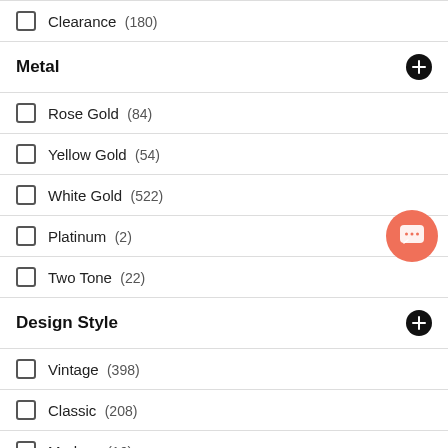Clearance  (180)
Metal
Rose Gold  (84)
Yellow Gold  (54)
White Gold  (522)
Platinum  (2)
Two Tone  (22)
Design Style
Vintage  (398)
Classic  (208)
Modern  (16)
Gift Type